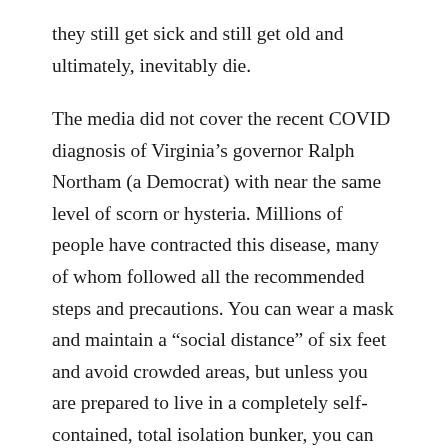they still get sick and still get old and ultimately, inevitably die.
The media did not cover the recent COVID diagnosis of Virginia's governor Ralph Northam (a Democrat) with near the same level of scorn or hysteria. Millions of people have contracted this disease, many of whom followed all the recommended steps and precautions. You can wear a mask and maintain a “social distance” of six feet and avoid crowded areas, but unless you are prepared to live in a completely self-contained, total isolation bunker, you can still catch this virus and you can still get sick from it.
If you choose to stay home or take other steps to minimize risk, that is your freedom and your right. But